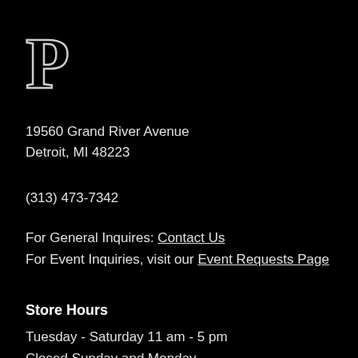[Figure (logo): Large decorative letter P in outlined/engraved style on black background]
19560 Grand River Avenue
Detroit, MI 48223
(313) 473-7342
For General Inquires: Contact Us
For Event Inquiries, visit our Event Requests Page
Store Hours
Tuesday - Saturday 11 am - 5 pm
Closed Sunday and Monday